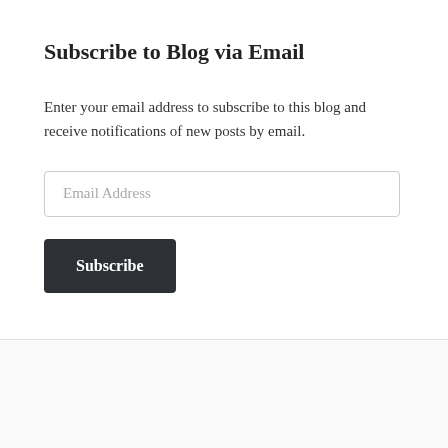Subscribe to Blog via Email
Enter your email address to subscribe to this blog and receive notifications of new posts by email.
[Figure (screenshot): Email address input field with placeholder text 'Email Address' and a dark Subscribe button below it]